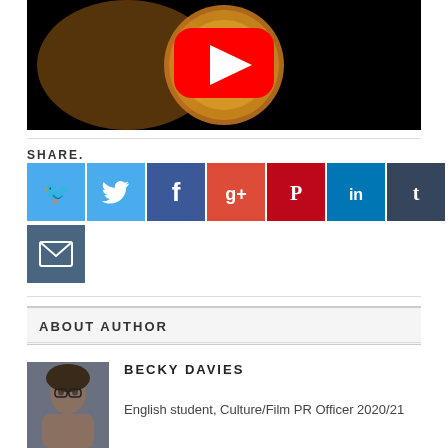[Figure (screenshot): YouTube video thumbnail showing a glowing orb/globe on dark background with red YouTube play button overlay]
SHARE.
[Figure (infographic): Social media share buttons: Twitter (blue), Facebook (dark blue), Google+ (orange-red), Pinterest (red), LinkedIn (blue), Tumblr (dark blue), Email (dark slate blue)]
ABOUT AUTHOR
[Figure (photo): Profile photo of Becky Davies]
BECKY DAVIES
English student, Culture/Film PR Officer 2020/21